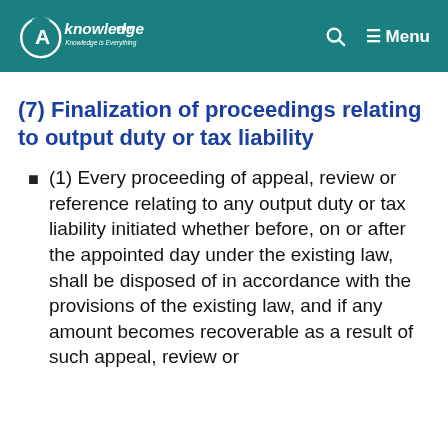CAknowledge.com — Knowledge is Everything | Menu
(7) Finalization of proceedings relating to output duty or tax liability
(1) Every proceeding of appeal, review or reference relating to any output duty or tax liability initiated whether before, on or after the appointed day under the existing law, shall be disposed of in accordance with the provisions of the existing law, and if any amount becomes recoverable as a result of such appeal, review or